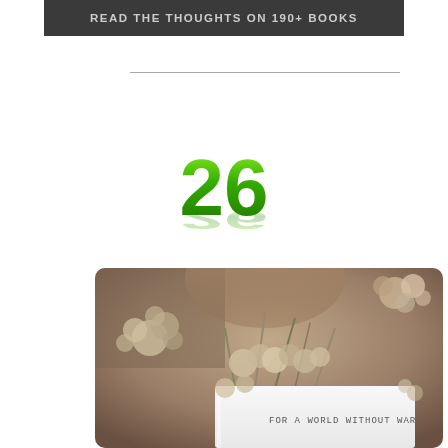READ THE THOUGHTS ON 190+ BOOKS
26
[Figure (photo): A white vase or cup holding dried flowers with the handwritten text 'FOR A WORLD WITHOUT WAR' on the side, photographed on a warm brown background with soft focus.]